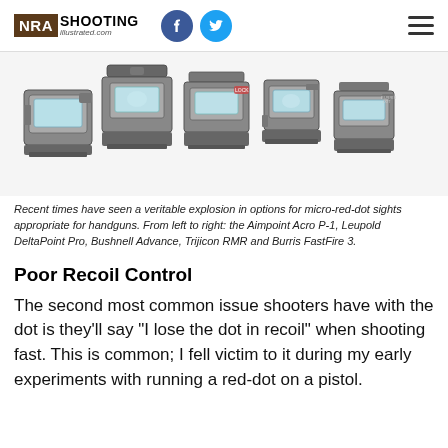NRA Shooting Illustrated
[Figure (photo): Five micro red-dot sights for handguns displayed in a row against a white background: Aimpoint Acro P-1, Leupold DeltaPoint Pro, Bushnell Advance, Trijicon RMR, and Burris FastFire 3]
Recent times have seen a veritable explosion in options for micro-red-dot sights appropriate for handguns. From left to right: the Aimpoint Acro P-1, Leupold DeltaPoint Pro, Bushnell Advance, Trijicon RMR and Burris FastFire 3.
Poor Recoil Control
The second most common issue shooters have with the dot is they’ll say “I lose the dot in recoil” when shooting fast. This is common; I fell victim to it during my early experiments with running a red-dot on a pistol.